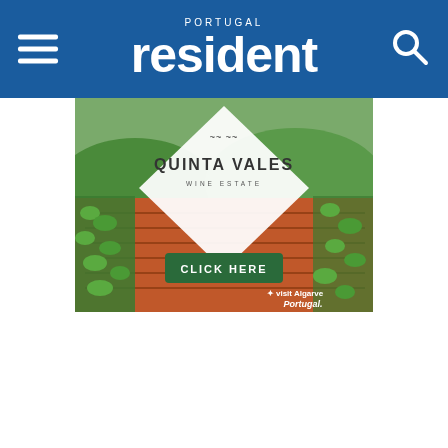PORTUGAL resident
[Figure (screenshot): Quinta Vales Wine Estate advertisement showing vineyard rows with red soil, white diamond-shaped logo overlay in center reading 'QUINTA VALES WINE ESTATE' with decorative bird/vine motif, a green 'CLICK HERE' button at bottom center, and 'visit Algarve Portugal' branding at bottom right.]